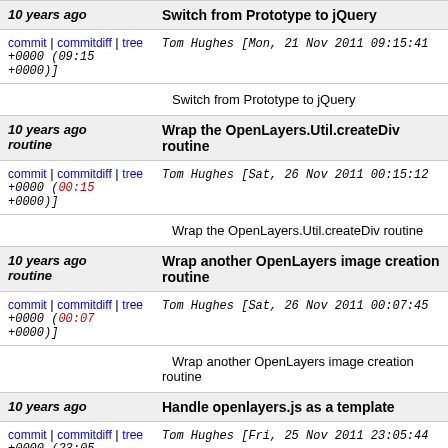| 10 years ago | Switch from Prototype to jQuery |
| commit | commitdiff | tree +0000 (09:15 +0000) | Tom Hughes [Mon, 21 Nov 2011 09:15:41 +0000 (09:15 +0000)] |
|  | Switch from Prototype to jQuery |
| 10 years ago routine | Wrap the OpenLayers.Util.createDiv routine |
| commit | commitdiff | tree +0000 (00:15 +0000) | Tom Hughes [Sat, 26 Nov 2011 00:15:12 +0000 (00:15 +0000)] |
|  | Wrap the OpenLayers.Util.createDiv routine |
| 10 years ago routine | Wrap another OpenLayers image creation routine |
| commit | commitdiff | tree +0000 (00:07 +0000) | Tom Hughes [Sat, 26 Nov 2011 00:07:45 +0000 (00:07 +0000)] |
|  | Wrap another OpenLayers image creation routine |
| 10 years ago | Handle openlayers.js as a template |
| commit | commitdiff | tree +0000 (23:05 +0000) | Tom Hughes [Fri, 25 Nov 2011 23:05:44 +0000 (23:05 +0000)] |